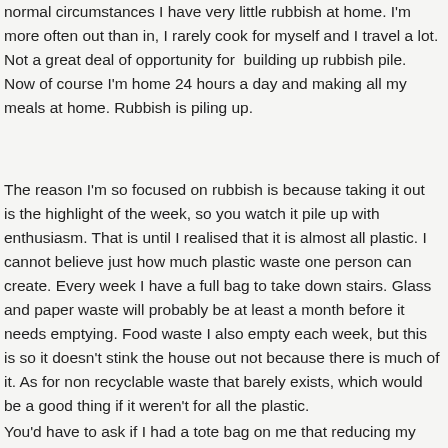normal circumstances I have very little rubbish at home. I'm more often out than in, I rarely cook for myself and I travel a lot. Not a great deal of opportunity for building up rubbish pile. Now of course I'm home 24 hours a day and making all my meals at home. Rubbish is piling up.
The reason I'm so focused on rubbish is because taking it out is the highlight of the week, so you watch it pile up with enthusiasm. That is until I realised that it is almost all plastic. I cannot believe just how much plastic waste one person can create. Every week I have a full bag to take down stairs. Glass and paper waste will probably be at least a month before it needs emptying. Food waste I also empty each week, but this is so it doesn't stink the house out not because there is much of it. As for non recyclable waste that barely exists, which would be a good thing if it weren't for all the plastic.
You'd have to ask if I had a tote bag on me that reducing my rubbish from f...